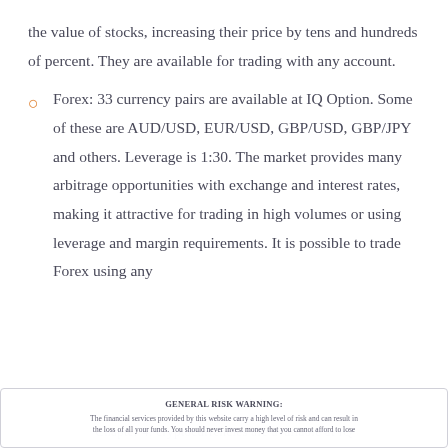the value of stocks, increasing their price by tens and hundreds of percent. They are available for trading with any account.
Forex: 33 currency pairs are available at IQ Option. Some of these are AUD/USD, EUR/USD, GBP/USD, GBP/JPY and others. Leverage is 1:30. The market provides many arbitrage opportunities with exchange and interest rates, making it attractive for trading in high volumes or using leverage and margin requirements. It is possible to trade Forex using any
GENERAL RISK WARNING: The financial services provided by this website carry a high level of risk and can result in the loss of all your funds. You should never invest money that you cannot afford to lose